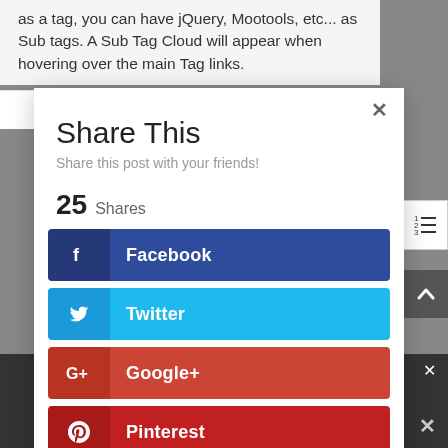as a tag, you can have jQuery, Mootools, etc... as Sub tags. A Sub Tag Cloud will appear when hovering over the main Tag links.
[Figure (logo): Envato Elements logo with green leaf icon]
Share This
Share this post with your friends!
25  Shares
Facebook
Twitter
Google+
Pinterest